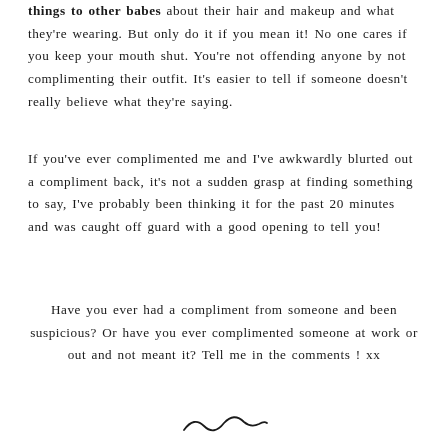things to other babes about their hair and makeup and what they're wearing. But only do it if you mean it! No one cares if you keep your mouth shut. You're not offending anyone by not complimenting their outfit. It's easier to tell if someone doesn't really believe what they're saying.
If you've ever complimented me and I've awkwardly blurted out a compliment back, it's not a sudden grasp at finding something to say, I've probably been thinking it for the past 20 minutes and was caught off guard with a good opening to tell you!
Have you ever had a compliment from someone and been suspicious? Or have you ever complimented someone at work or out and not meant it? Tell me in the comments ! xx
[Figure (illustration): A handwritten signature or decorative flourish at the bottom center of the page]